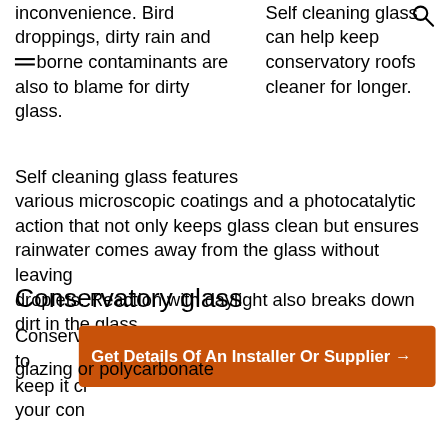inconvenience. Bird droppings, dirty rain and airborne contaminants are also to blame for dirty glass.
Self cleaning glass can help keep conservatory roofs cleaner for longer.
Self cleaning glass features various microscopic coatings and a photocatalytic action that not only keeps glass clean but ensures rainwater comes away from the glass without leaving droplets. Reaction with daylight also breaks down dirt in the glass.
Conservatory glass
Conservatory glass can be specified in many forms to keep it cl... your con...
Get Details Of An Installer Or Supplier →
glazing or polycarbonate